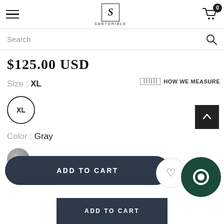SARTORIALE - navigation header with logo and cart
Search
$125.00 USD
Size : XL
HOW WE MEASURE
XL
Color : Gray
ADD TO CART
ADD TO CART